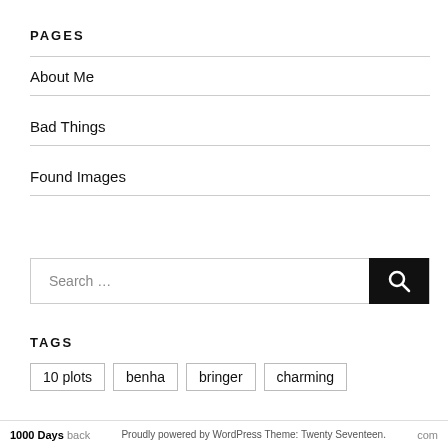PAGES
About Me
Bad Things
Found Images
Search …
TAGS
10 plots
benha
bringer
charming
1000 Days back com Proudly powered by WordPress Theme: Twenty Seventeen.